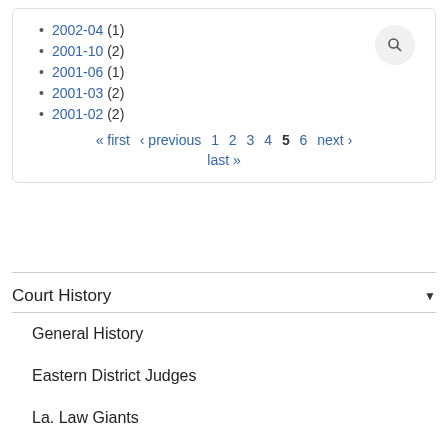2002-04 (1)
2001-10 (2)
2001-06 (1)
2001-03 (2)
2001-02 (2)
« first ‹ previous 1 2 3 4 5 6 next › last »
Court History
General History
Eastern District Judges
La. Law Giants
Notable Cases